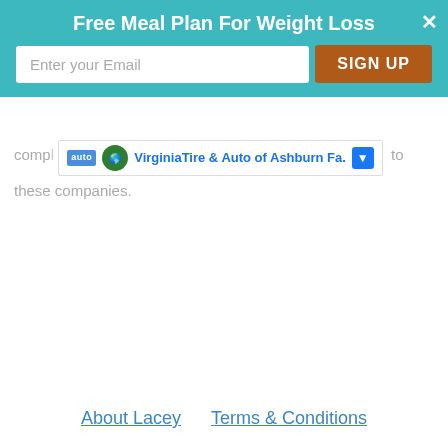Free Meal Plan For Weight Loss
[Figure (screenshot): Email signup popup with teal background, input field 'Enter your Email', and orange 'SIGN UP' button, with close X button]
[Figure (screenshot): Ad banner for Virginia Tire & Auto of Ashburn Fa. with auto badge, logo, Facebook button, and close X]
these companies.
About Lacey   Terms & Conditions
Privacy Policy   FAQ   Vacationing
© 2022 Copyright A Sweet Pea Chef
AN ELITE CAFEMEDIA FOOD PUBLISHER